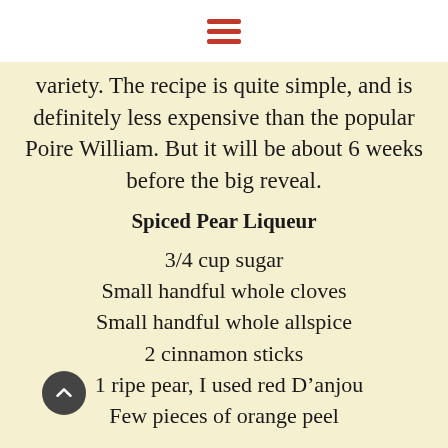variety. The recipe is quite simple, and is definitely less expensive than the popular Poire William. But it will be about 6 weeks before the big reveal.
Spiced Pear Liqueur
3/4 cup sugar
Small handful whole cloves
Small handful whole allspice
2 cinnamon sticks
1 ripe pear, I used red D'anjou
Few pieces of orange peel